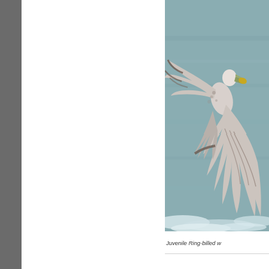[Figure (photo): A juvenile Ring-billed gull in flight over water, wings spread wide, carrying something yellow in its bill. The background shows grey-green ocean water with white foam/waves visible at the bottom. The bird is photographed from slightly below, showing its underside with brown and white mottled wing pattern.]
Juvenile Ring-billed w